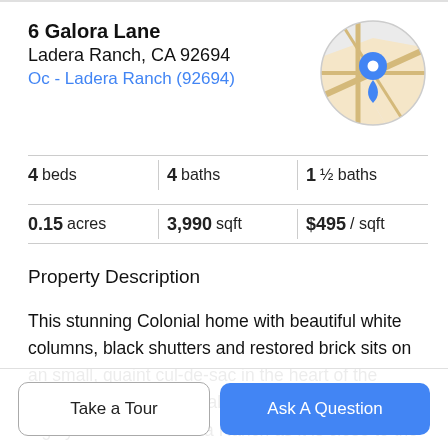6 Galora Lane
Ladera Ranch, CA 92694
Oc - Ladera Ranch (92694)
[Figure (map): Circular map thumbnail showing street map with blue location pin marker for 6 Galora Lane, Ladera Ranch, CA]
4 beds   4 baths   1 ½ baths
0.15 acres   3,990 sqft   $495 / sqft
Property Description
This stunning Colonial home with beautiful white columns, black shutters and restored brick sits on an small, quaint cul-de-sac in the heart of the Terramor Village. Centrally located, this area is highly desired in Ladera Ranch as it is close to the paseo, is nearby many walking and biking